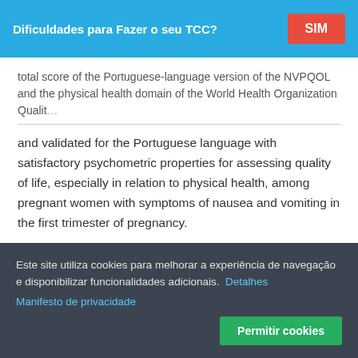[Figure (screenshot): Blue ad banner with text 'Dificuldades para Fazer o seu TCC?' and a red button labeled 'SIM']
total score of the Portuguese-language version of the NVPQOL and the physical health domain of the World Health Organization Qualit...
and validated for the Portuguese language with satisfactory psychometric properties for assessing quality of life, especially in relation to physical health, among pregnant women with symptoms of nausea and vomiting in the first trimester of pregnancy.
Este site utiliza cookies para melhorar a experiência de navegação e disponibilizar funcionalidades adicionais. Detalhes Manifesto de privacidade
Permitir cookies